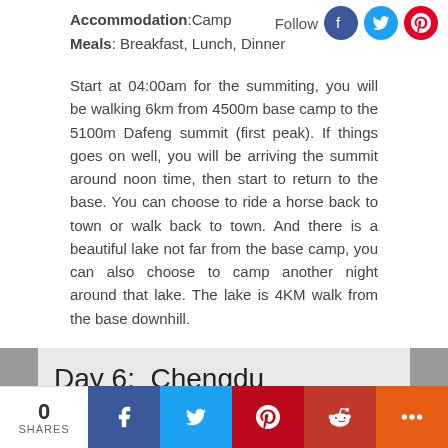Accommodation: Camp
Meals: Breakfast, Lunch, Dinner
Start at 04:00am for the summiting, you will be walking 6km from 4500m base camp to the 5100m Dafeng summit (first peak). If things goes on well, you will be arriving the summit around noon time, then start to return to the base. You can choose to ride a horse back to town or walk back to town. And there is a beautiful lake not far from the base camp, you can also choose to camp another night around that lake. The lake is 4KM walk from the base downhill.
Day 6:  Chengdu
Sightseeing and Activities: Back to Chengdu
Accommodation:
0 SHARES | Facebook | Twitter | Pinterest | Reddit | More